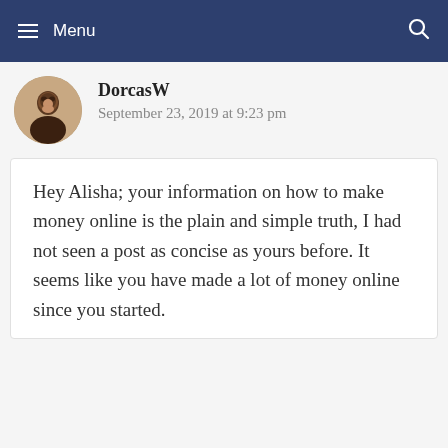≡ Menu
DorcasW
September 23, 2019 at 9:23 pm
Hey Alisha; your information on how to make money online is the plain and simple truth, I had not seen a post as concise as yours before. It seems like you have made a lot of money online since you started.